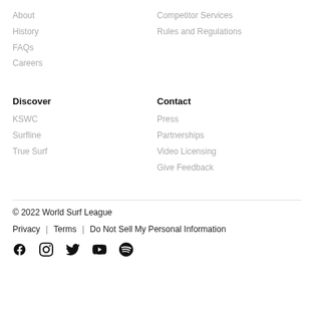About
History
FAQs
Careers
Competitor Services
Rules and Regulations
Discover
KSWC
Surfline
True Surf
Contact
Press
Partnerships
Video Licensing
Give Feedback
© 2022 World Surf League
Privacy | Terms | Do Not Sell My Personal Information
[Figure (other): Social media icons: Facebook, Instagram, Twitter, YouTube, Spotify]